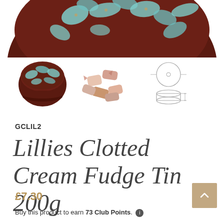[Figure (photo): Top portion of a decorative round tin with dark brown background and teal/turquoise floral lily pattern]
[Figure (photo): Three thumbnail images: (1) closed decorative tin with lily pattern viewed from top angle, (2) clotted cream fudge sweets scattered, (3) engineering/diagram line drawing showing top and side profile of the tin]
GCLIL2
Lillies Clotted Cream Fudge Tin 200g
£7.30
Buy this product to earn 73 Club Points.